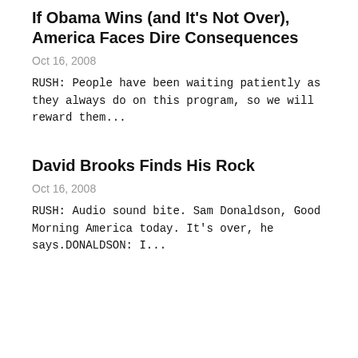If Obama Wins (and It’s Not Over), America Faces Dire Consequences
Oct 16, 2008
RUSH: People have been waiting patiently as they always do on this program, so we will reward them...
David Brooks Finds His Rock
Oct 16, 2008
RUSH: Audio sound bite. Sam Donaldson, Good Morning America today. It’s over, he says.DONALDSON: I...